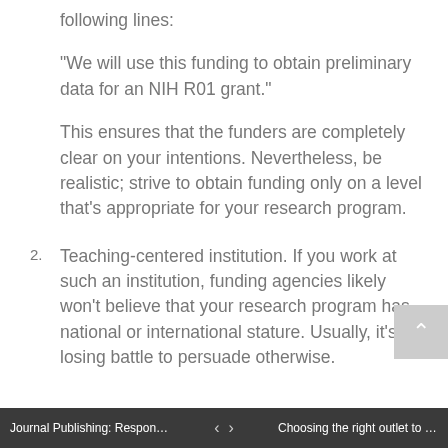following lines:
“We will use this funding to obtain preliminary data for an NIH R01 grant.”
This ensures that the funders are completely clear on your intentions. Nevertheless, be realistic; strive to obtain funding only on a level that’s appropriate for your research program.
2. Teaching-centered institution. If you work at such an institution, funding agencies likely won’t believe that your research program has national or international stature. Usually, it’s a losing battle to persuade otherwise.
Journal Publishing: Responding t... ‹ › Choosing the right outlet to publi...